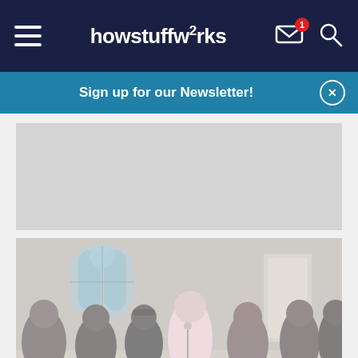howstuffworks
Sign up for our Newsletter!
[Figure (other): Gray advertisement placeholder box]
[Figure (photo): Group of young people singing in a choir inside a church with stained glass windows in background, a person in pink top at center holding a microphone]